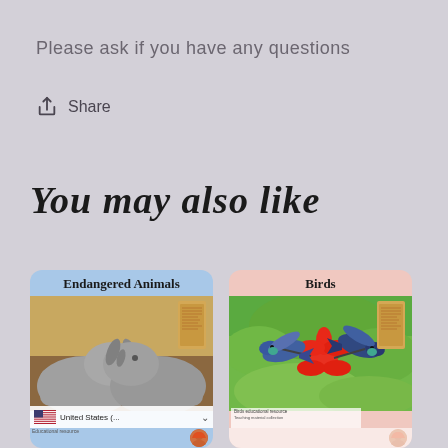Please ask if you have any questions
Share
You may also like
[Figure (screenshot): Product card for 'Endangered Animals' educational material showing two rhinoceroses facing each other, with a small book thumbnail, US flag selector showing 'United States (...', and a seller avatar at bottom.]
[Figure (screenshot): Product card for 'Birds' educational material showing two hummingbirds near a red tropical flower on green foliage background, with a small book thumbnail and seller avatar at bottom.]